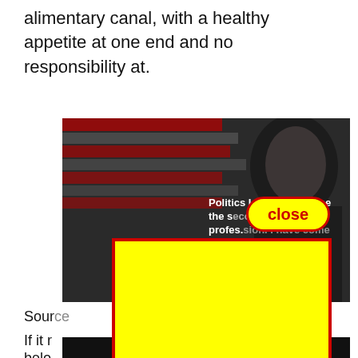alimentary canal, with a healthy appetite at one end and no responsibility at.
[Figure (photo): Dark photo of Ronald Reagan with American flag in background. Overlaid white bold text reads: 'Politics I supposed to be the s[econd oldest] profes[sion. I have come] to realize that it bears a'. A yellow oval 'close' button overlaps the center of the image. A large yellow rectangle with red border covers the lower portion of the image and page.]
Sour[ce]
If it r[...]isn't belo[ng...]